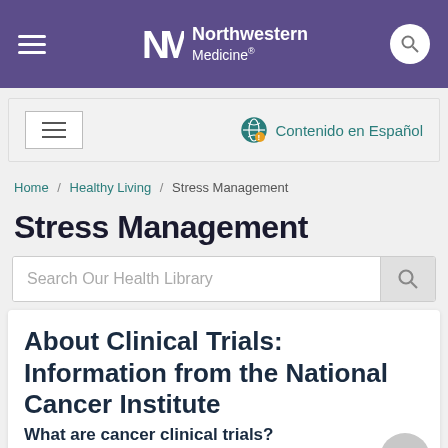Northwestern Medicine
Contenido en Español
Home / Healthy Living / Stress Management
Stress Management
Search Our Health Library
About Clinical Trials: Information from the National Cancer Institute
What are cancer clinical trials?